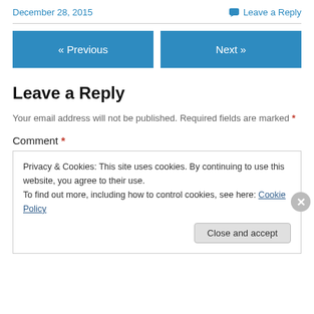December 28, 2015
Leave a Reply
« Previous
Next »
Leave a Reply
Your email address will not be published. Required fields are marked *
Comment *
Privacy & Cookies: This site uses cookies. By continuing to use this website, you agree to their use.
To find out more, including how to control cookies, see here: Cookie Policy
Close and accept